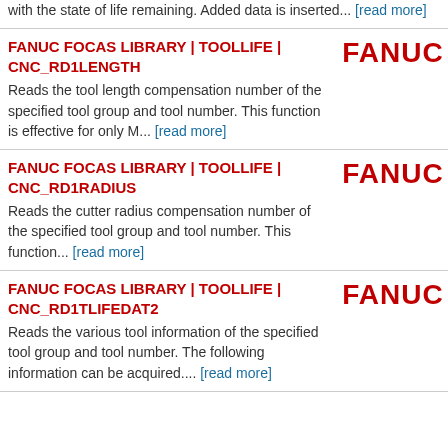with the state of life remaining. Added data is inserted... [read more]
FANUC FOCAS LIBRARY | TOOLLIFE | CNC_RD1LENGTH
Reads the tool length compensation number of the specified tool group and tool number. This function is effective for only M... [read more]
FANUC FOCAS LIBRARY | TOOLLIFE | CNC_RD1RADIUS
Reads the cutter radius compensation number of the specified tool group and tool number. This function... [read more]
FANUC FOCAS LIBRARY | TOOLLIFE | CNC_RD1TLIFEDAT2
Reads the various tool information of the specified tool group and tool number. The following information can be acquired.... [read more]